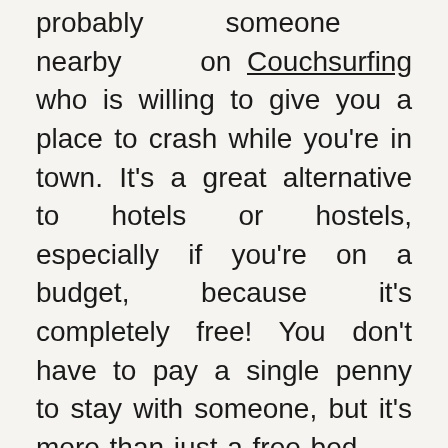probably someone nearby on Couchsurfing who is willing to give you a place to crash while you're in town. It's a great alternative to hotels or hostels, especially if you're on a budget, because it's completely free! You don't have to pay a single penny to stay with someone, but it's more than just a free bed.
Couchsurfing is a community of like-minded people. It's filled with humans who love to travel, learn about the world and its cultures, and meet others. That's what makes this whole thing so cool.